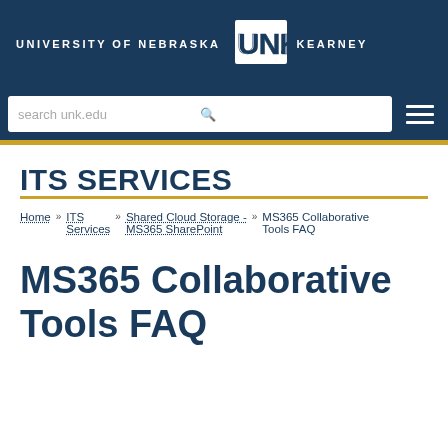UNIVERSITY OF NEBRASKA UNK KEARNEY
search unk.edu
ITS SERVICES
Home » ITS Services » Shared Cloud Storage - MS365 SharePoint » MS365 Collaborative Tools FAQ
MS365 Collaborative Tools FAQ